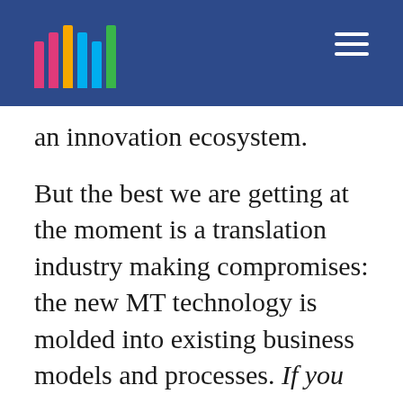[Logo with colored bars] [Hamburger menu]
an innovation ecosystem.
But the best we are getting at the moment is a translation industry making compromises: the new MT technology is molded into existing business models and processes. If you can't beat 'm, eat 'm, seems to be the mantra of some of the most forward-thinking translation platforms, judging from the sheer number of MT engines they claim to integrate with. What they achieve is a productivity gain resulting in a price reduction for the customer: ten to twenty percent faster and cheaper every year. At the core, though, nothing is changing. Except that in this race to the bottom they are dragging